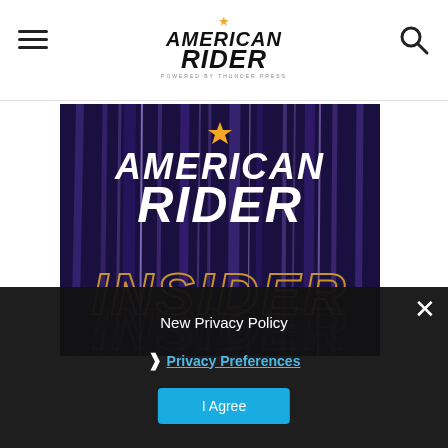American Rider — powered by Thunder Press
[Figure (logo): American Rider Insider promotional image with stylized text on dark streaked background]
New Privacy Policy
Privacy Preferences
I Agree